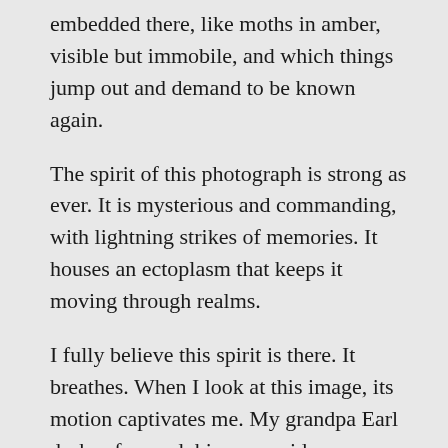embedded there, like moths in amber, visible but immobile, and which things jump out and demand to be known again.
The spirit of this photograph is strong as ever. It is mysterious and commanding, with lightning strikes of memories. It houses an ectoplasm that keeps it moving through realms.
I fully believe this spirit is there. It breathes. When I look at this image, its motion captivates me. My grandpa Earl dashes forward, his arms wide, beguiling a jumping dog. Another dog leaps down from a tree split in half, the trunk bent and the blond wood exposed. It appears lightning-struck, a sudden change in form. The photo's simple